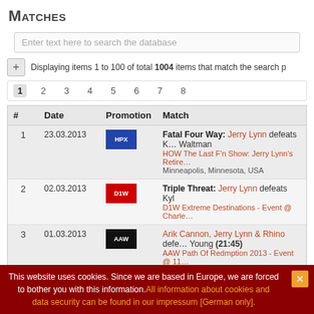Matches
Enter text here to search the database
Displaying items 1 to 100 of total 1004 items that match the search p...
| # | Date | Promotion | Match |
| --- | --- | --- | --- |
| 1 | 23.03.2013 | [HPX logo] | Fatal Four Way: Jerry Lynn defeats ... Waltman
HOW The Last F'n Show: Jerry Lynn's Retire...
Minneapolis, Minnesota, USA |
| 2 | 02.03.2013 | [D1W logo] | Triple Threat: Jerry Lynn defeats Kyl...
D1W Extreme Destinations - Event @ Charle... |
| 3 | 01.03.2013 | [AAW logo] | Arik Cannon, Jerry Lynn & Rhino defe... Young (21:45)
AAW Path Of Redmption 2013 - Event @ 11... |
This website uses cookies. Since we are based in Europe, we are forced to bother you with this information. All information about cookies and data security can be found in our impressum [German only].